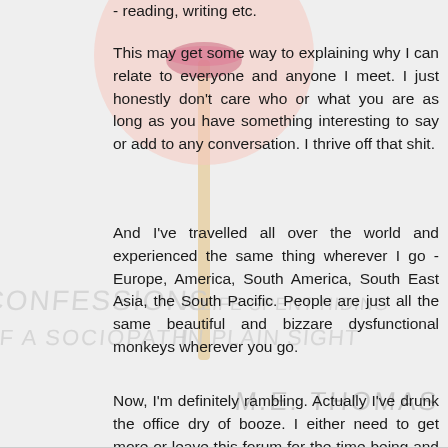[Figure (illustration): Background image showing a lollipop with lips print, overlaid with handwritten watermark text reading 'CONFESSIONS OF A SOCIOPATH A LIFE SPENT HIDING IN PLAIN SIGHT' and 'M.E. THOMAS']
- reading, writing etc.
This may get some way to explaining why I can relate to everyone and anyone I meet. I just honestly don't care who or what you are as long as you have something interesting to say or add to any conversation. I thrive off that shit.
And I've travelled all over the world and experienced the same thing wherever I go - Europe, America, South America, South East Asia, the South Pacific. People are just all the same beautiful and bizzare dysfunctional monkeys wherever you go.
Now, I'm definitely rambling. Actually I've drunk the office dry of booze. I either need to get more or leave this forum for the time being and go out.
Mindless Pleasures October 12, 2012 at 12:56 PM